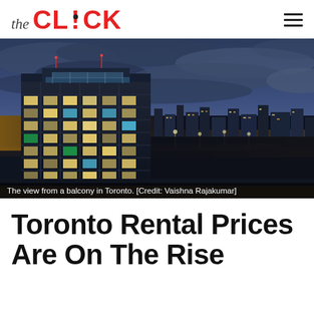the CLICK
[Figure (photo): Aerial night view from a balcony in Toronto showing a tall modern glass building in the foreground with glowing windows and the city skyline illuminated with streetlights and buildings stretching to the horizon under a dramatic cloudy twilight sky.]
The view from a balcony in Toronto. [Credit: Vaishna Rajakumar]
Toronto Rental Prices Are On The Rise